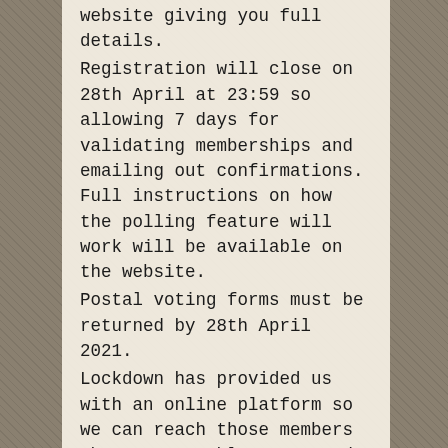website giving you full details. Registration will close on 28th April at 23:59 so allowing 7 days for validating memberships and emailing out confirmations. Full instructions on how the polling feature will work will be available on the website. Postal voting forms must be returned by 28th April 2021. Lockdown has provided us with an online platform so we can reach those members who are not able to attend our Groups. Even our Exec Committee meetings are held on Zoom, it saves on travelling and is much more convenient. This is where I hope we can persuade more of our